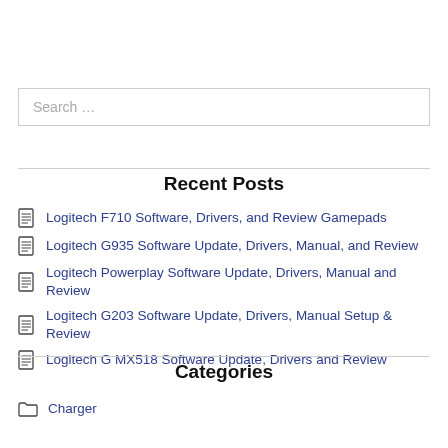Search …
Recent Posts
Logitech F710 Software, Drivers, and Review Gamepads
Logitech G935 Software Update, Drivers, Manual, and Review
Logitech Powerplay Software Update, Drivers, Manual and Review
Logitech G203 Software Update, Drivers, Manual Setup & Review
Logitech G MX518 Software Update, Drivers and Review
Categories
Charger